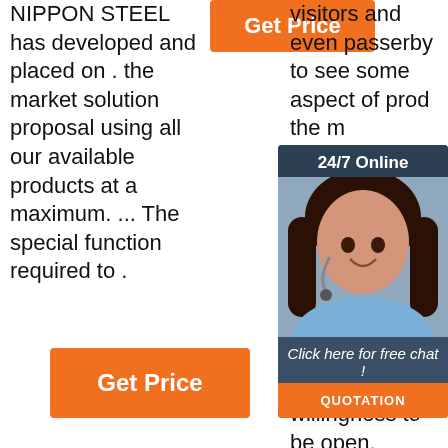NIPPON STEEL has developed and placed on . the market solution proposal using all our available products at a maximum. ... The special function required to .
[Figure (other): Orange 'Get Price' button at top center]
visitors and even passerby to see some aspect of production the manufacturing doubt enterprise also symbol reference company transparency in its production process, and its willingness to be open.
[Figure (other): Live chat widget overlay with '24/7 Online' header, photo of woman with headset, 'Click here for free chat!' link, and orange QUOTATION button]
[Figure (other): Orange 'Get Price' button at bottom left]
[Figure (other): TOP watermark logo with red dots at bottom right]